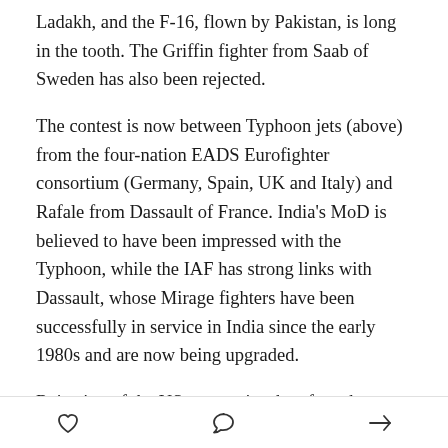Ladakh, and the F-16, flown by Pakistan, is long in the tooth. The Griffin fighter from Saab of Sweden has also been rejected.
The contest is now between Typhoon jets (above) from the four-nation EADS Eurofighter consortium (Germany, Spain, UK and Italy) and Rafale from Dassault of France. India's MoD is believed to have been impressed with the Typhoon, while the IAF has strong links with Dassault, whose Mirage fighters have been successfully in service in India since the early 1980s and are now being upgraded.
Rejection of the US companies therefore shows a degree of sophisticated detached decision-making from
[heart icon] [comment icon] [share icon]